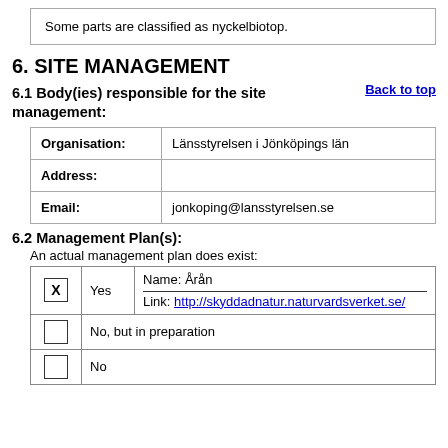Some parts are classified as nyckelbiotop.
6. SITE MANAGEMENT
Back to top
6.1 Body(ies) responsible for the site management:
|  |  |
| --- | --- |
| Organisation: | Länsstyrelsen i Jönköpings län |
| Address: |  |
| Email: | jonkoping@lansstyrelsen.se |
6.2 Management Plan(s):
An actual management plan does exist:
|  |  |  |
| --- | --- | --- |
| X | Yes | Name: Årån
Link: http://skyddadnatur.naturvardsverket.se/ |
|  | No, but in preparation |  |
|  | No |  |